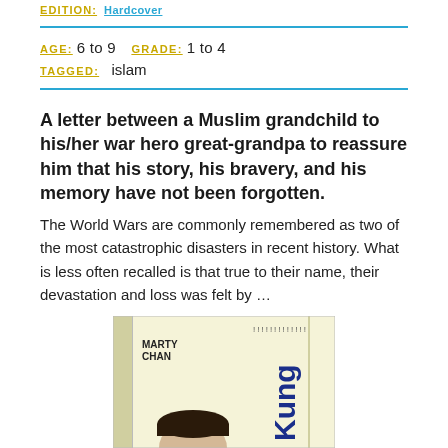EDITION: Hardcover
AGE: 6 to 9   GRADE: 1 to 4
TAGGED: islam
A letter between a Muslim grandchild to his/her war hero great-grandpa to reassure him that his story, his bravery, and his memory have not been forgotten.
The World Wars are commonly remembered as two of the most catastrophic disasters in recent history. What is less often recalled is that true to their name, their devastation and loss was felt by …
[Figure (photo): Book cover showing 'Kung' by Marty Chan, with a child's head visible at the bottom and school locker-style background]